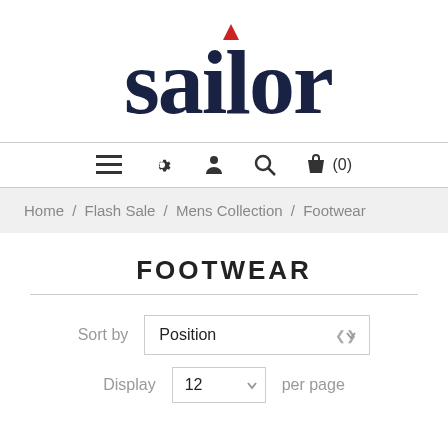[Figure (logo): Sailor brand logo with dark navy serif text and a small red triangle above the letter 'i']
≡  ⚙  👤  🔍  🛍 (0)
Home / Flash Sale / Mens Collection / Footwear
FOOTWEAR
Sort by  Position
Display  12  per page